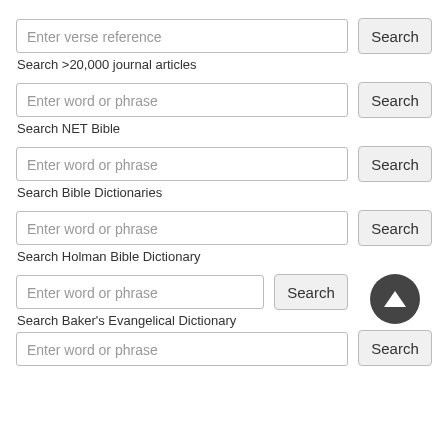Enter verse reference
Search >20,000 journal articles
Enter word or phrase
Search NET Bible
Enter word or phrase
Search Bible Dictionaries
Enter word or phrase
Search Holman Bible Dictionary
Enter word or phrase
Search Baker's Evangelical Dictionary
Enter word or phrase